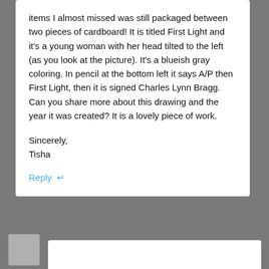items I almost missed was still packaged between two pieces of cardboard! It is titled First Light and it’s a young woman with her head tilted to the left (as you look at the picture). It’s a blueish gray coloring. In pencil at the bottom left it says A/P then First Light, then it is signed Charles Lynn Bragg. Can you share more about this drawing and the year it was created? It is a lovely piece of work.
Sincerely,
Tisha
Reply ←